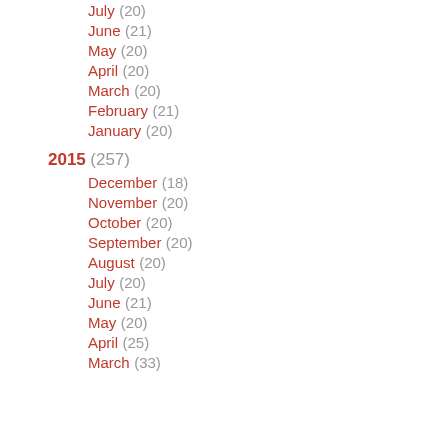July (20)
June (21)
May (20)
April (20)
March (20)
February (21)
January (20)
2015 (257)
December (18)
November (20)
October (20)
September (20)
August (20)
July (20)
June (21)
May (20)
April (25)
March (33)